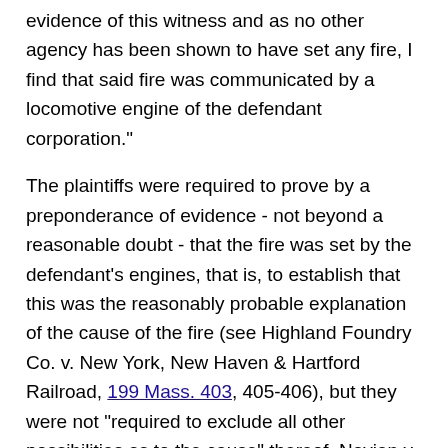evidence of this witness and as no other agency has been shown to have set any fire, I find that said fire was communicated by a locomotive engine of the defendant corporation."
The plaintiffs were required to prove by a preponderance of evidence - not beyond a reasonable doubt - that the fire was set by the defendant's engines, that is, to establish that this was the reasonably probable explanation of the cause of the fire (see Highland Foundry Co. v. New York, New Haven & Hartford Railroad, 199 Mass. 403, 405-406), but they were not "required to exclude all other possibilities as to the cause" thereof. Navien v. Cohen, 268 Mass. 427, 431, and cases cited. The judge rightly refused to rule that if there was "any reasonable doubt upon all the